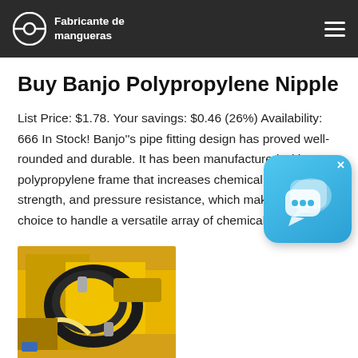Fabricante de mangueras
Buy Banjo Polypropylene Nipple
List Price: $1.78. Your savings: $0.46 (26%) Availability: 666 In Stock! Banjo''s pipe fitting design has proved well-rounded and durable. It has been manufactured with a polypropylene frame that increases chemical resistance, strength, and pressure resistance, which makes it the ideal choice to handle a versatile array of chemicals.
[Figure (photo): Close-up photo of yellow industrial hydraulic machinery with black hoses and metal fittings]